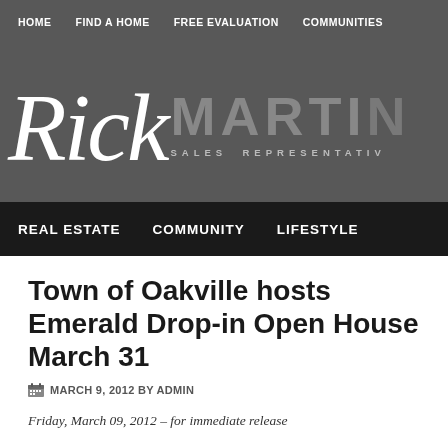HOME | FIND A HOME | FREE EVALUATION | COMMUNITIES
[Figure (logo): Rick Martin Sales Representative logo — script 'Rick' in white with bold 'MARTIN' in grey and 'SALES REPRESENTATIVE' subtitle]
REAL ESTATE | COMMUNITY | LIFESTYLE
Town of Oakville hosts Emerald Drop-in Open House March 31
MARCH 9, 2012 BY ADMIN
Friday, March 09, 2012 – for immediate release